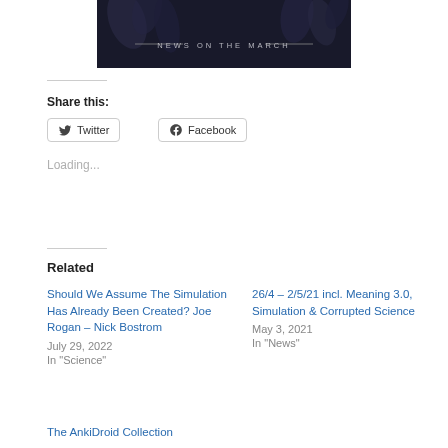[Figure (photo): Dark decorative banner image with smoke/flower shapes and text 'NEWS ON THE MARCH' in the center with horizontal lines on each side]
Share this:
Twitter
Facebook
Loading...
Related
Should We Assume The Simulation Has Already Been Created? Joe Rogan – Nick Bostrom
July 29, 2022
In "Science"
26/4 – 2/5/21 incl. Meaning 3.0, Simulation & Corrupted Science
May 3, 2021
In "News"
The AnkiDroid Collection